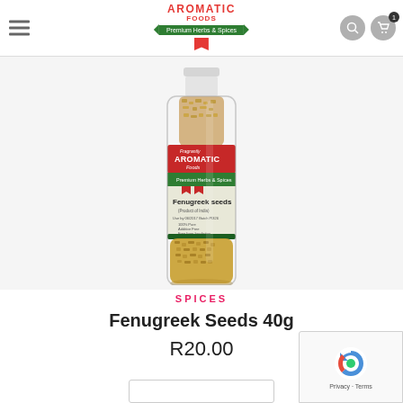[Figure (screenshot): Website header with hamburger menu, Fragrantly Aromatic Foods logo with red and green ribbon, search icon, and cart icon]
[Figure (photo): A clear plastic bottle filled with fenugreek seeds bearing a Fragrantly Aromatic Foods label on a white/light grey background]
SPICES
Fenugreek Seeds 40g
R20.00